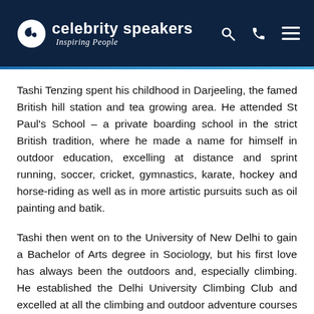celebrity speakers – Inspiring People
Tashi Tenzing spent his childhood in Darjeeling, the famed British hill station and tea growing area. He attended St Paul's School – a private boarding school in the strict British tradition, where he made a name for himself in outdoor education, excelling at distance and sprint running, soccer, cricket, gymnastics, karate, hockey and horse-riding as well as in more artistic pursuits such as oil painting and batik.
Tashi then went on to the University of New Delhi to gain a Bachelor of Arts degree in Sociology, but his first love has always been the outdoors and, especially climbing. He established the Delhi University Climbing Club and excelled at all the climbing and outdoor adventure courses at the Himalayan Mountaineering